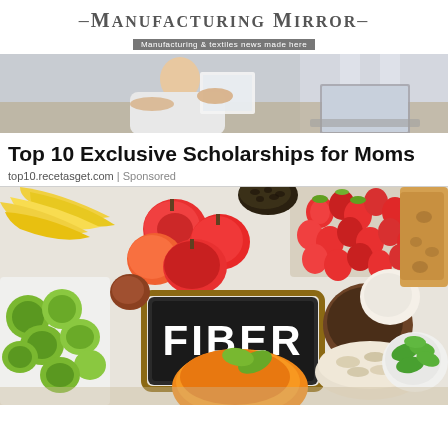—Manufacturing Mirror— Manufacturing & textiles news made here
[Figure (photo): Banner photo of a person in a white top reading a document at a desk with a laptop]
Top 10 Exclusive Scholarships for Moms
top10.recetasget.com | Sponsored
[Figure (photo): Overhead photo of high-fiber foods including bananas, apples, strawberries, Brussels sprouts, bread, coconut, spinach, oats, and pumpkin arranged around a chalkboard sign reading FIBER]